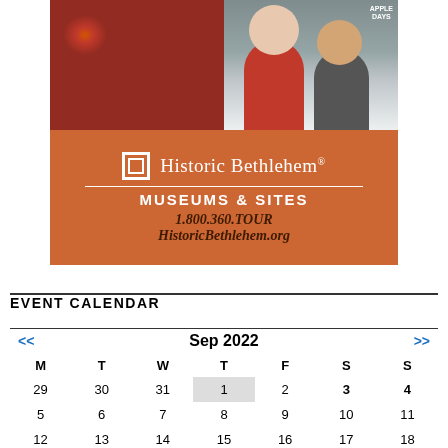[Figure (photo): Two photos side by side: left shows red apples, right shows two people wearing Apple Days t-shirts at an outdoor event.]
[Figure (logo): Historic Bethlehem Museums & Sites orange banner with logo icon, name, phone 1.800.360.TOUR, and website HistoricBethlehem.org]
EVENT CALENDAR
| M | T | W | T | F | S | S |
| --- | --- | --- | --- | --- | --- | --- |
| 29 | 30 | 31 | 1 | 2 | 3 | 4 |
| 5 | 6 | 7 | 8 | 9 | 10 | 11 |
| 12 | 13 | 14 | 15 | 16 | 17 | 18 |